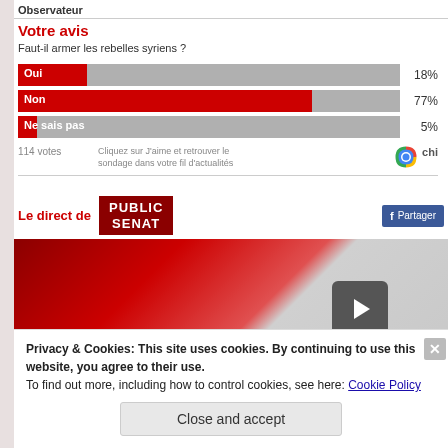Observateur
Votre avis
Faut-il armer les rebelles syriens ?
[Figure (bar-chart): Faut-il armer les rebelles syriens ?]
114 votes   Cliquez sur J'aime et retrouver le sondage dans votre fil d'actualités
Le direct de PUBLIC SENAT
[Figure (screenshot): Public Senat live video player thumbnail with play button]
Privacy & Cookies: This site uses cookies. By continuing to use this website, you agree to their use.
To find out more, including how to control cookies, see here: Cookie Policy
Close and accept